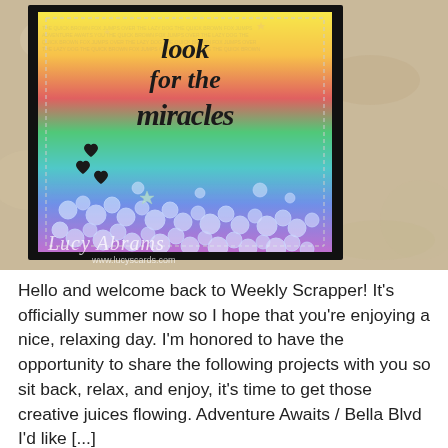[Figure (photo): A handmade rainbow shaker card with 'look for the miracles' written in black calligraphy script on a rainbow ink-blended background. The card features clear sequins and small heart embellishments at the bottom. The card is mounted on a black mat and photographed on a stone/marble surface. A watermark reading 'Lucy Abrams' and 'www.lucyscards.com' appears in the lower left of the image.]
Hello and welcome back to Weekly Scrapper! It's officially summer now so I hope that you're enjoying a nice, relaxing day. I'm honored to have the opportunity to share the following projects with you so sit back, relax, and enjoy, it's time to get those creative juices flowing. Adventure Awaits / Bella Blvd I'd like [...]